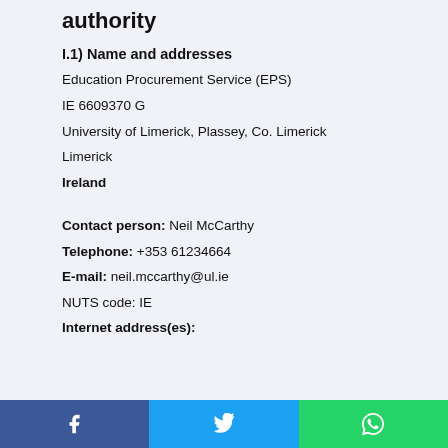authority
I.1) Name and addresses
Education Procurement Service (EPS)
IE 6609370 G
University of Limerick, Plassey, Co. Limerick
Limerick
Ireland
Contact person: Neil McCarthy
Telephone: +353 61234664
E-mail: neil.mccarthy@ul.ie
NUTS code: IE
Internet address(es):